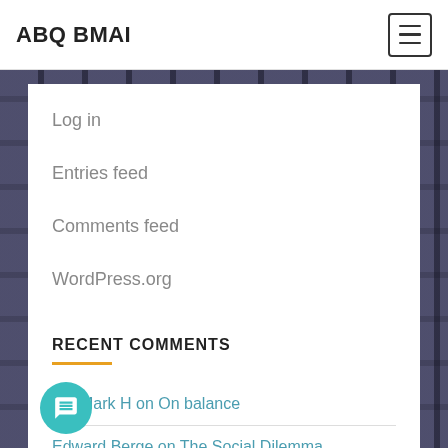ABQ BMAI
Log in
Entries feed
Comments feed
WordPress.org
RECENT COMMENTS
Mark H on On balance
Edward Berge on The Social Dilemma